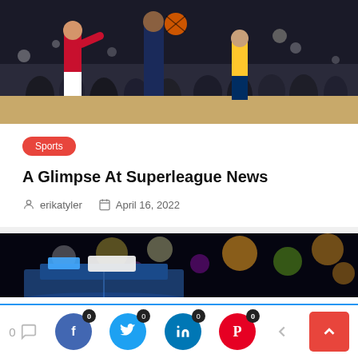[Figure (photo): Basketball game action photo showing players on court with crowd in background]
Sports
A Glimpse At Superleague News
erikatyler   April 16, 2022
[Figure (photo): Night scene with police car lights and blurred bokeh background city lights]
0  [comment icon]  0 [facebook] 0 [twitter] 0 [linkedin] 0 [pinterest] [share] [scroll-to-top]